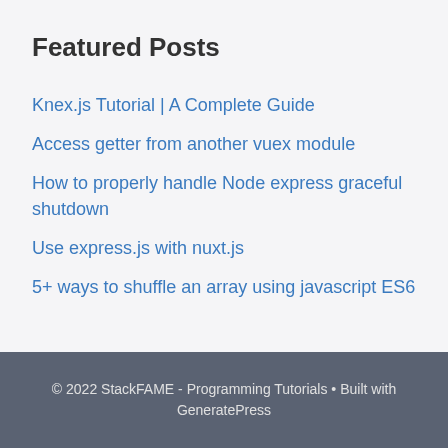Featured Posts
Knex.js Tutorial | A Complete Guide
Access getter from another vuex module
How to properly handle Node express graceful shutdown
Use express.js with nuxt.js
5+ ways to shuffle an array using javascript ES6
© 2022 StackFAME - Programming Tutorials • Built with GeneratePress